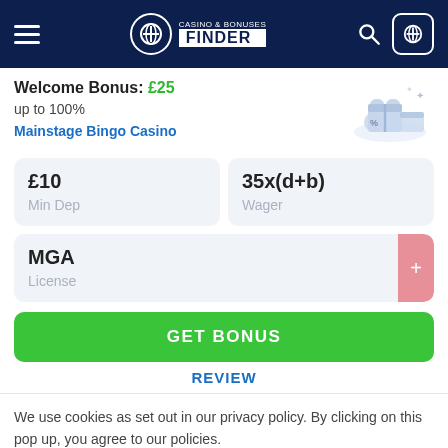Casino & Bonuses Finder
Welcome Bonus: £25 up to 100%
Mainstage Bingo Casino
£10 Min Dep
35x(d+b) Wager
MGA License
GET BONUS
REVIEW
We use cookies as set out in our privacy policy. By clicking on this pop up, you agree to our policies.
Read the privacy policy
It's OK For Me